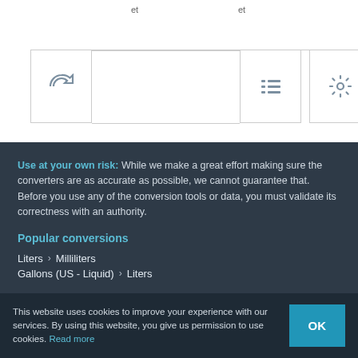[Figure (screenshot): Top white section with 'et' labels and three icon boxes (refresh icon, list icon, settings/gear icon) with horizontal rule divider]
Use at your own risk: While we make a great effort making sure the converters are as accurate as possible, we cannot guarantee that. Before you use any of the conversion tools or data, you must validate its correctness with an authority.
Popular conversions
Liters > Milliliters
Gallons (US - Liquid) > Liters
This website uses cookies to improve your experience with our services. By using this website, you give us permission to use cookies. Read more
OK